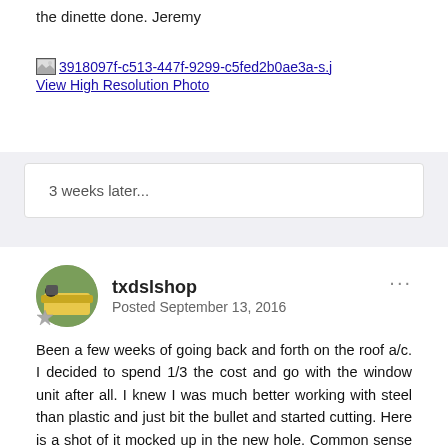the dinette done. Jeremy
[Figure (photo): Broken/partial image link thumbnail with filename 3918097f-c513-447f-9299-c5fed2b0ae3a-s.j and a 'View High Resolution Photo' link below]
3 weeks later...
txdslshop
Posted September 13, 2016
Been a few weeks of going back and forth on the roof a/c. I decided to spend 1/3 the cost and go with the window unit after all. I knew I was much better working with steel than plastic and just bit the bullet and started cutting. Here is a shot of it mocked up in the new hole. Common sense told me to go with a slightly smaller 8k BTU. But... I went to three different stores and only found this 10K BTU unit that slid out the front like I was hoping for. Go Big or Go home!!!! LOL